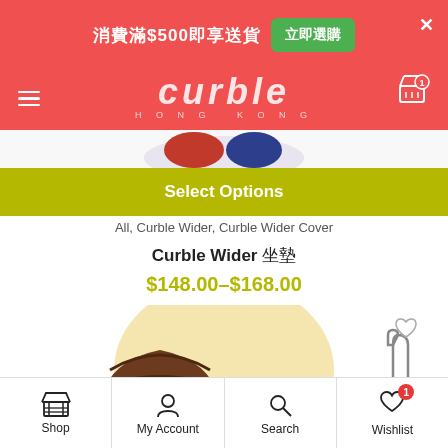Curble Hong Kong - header with promotional banner: 消費滿$500即享送貨 立即選購
[Figure (screenshot): Promotional banner in red header: text '消費滿$500即享送貨' with green button '立即選購', Curble Hong Kong logo, cart icon, hamburger menu icon]
[Figure (photo): Partial product image at top - colorful cushion/seat product]
Select Options
All, Curble Wider, Curble Wider Cover
Curble Wider 坐墊
$148.00–$168.00
[Figure (photo): Curble Wider product image - brown ergonomic seat/posture chair on light yellow circular background with handle accessory, wishlist heart icon overlay]
Shop | My Account | Search | Wishlist (1)